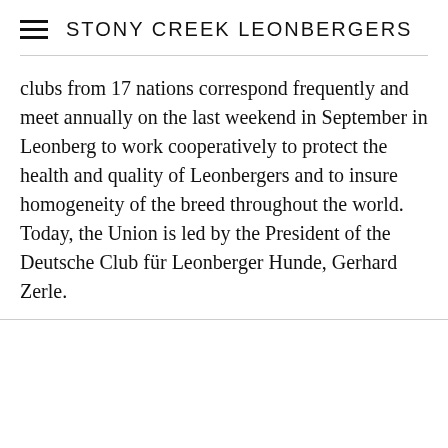STONY CREEK LEONBERGERS
clubs from 17 nations correspond frequently and meet annually on the last weekend in September in Leonberg to work cooperatively to protect the health and quality of Leonbergers and to insure homogeneity of the breed throughout the world. Today, the Union is led by the President of the Deutsche Club für Leonberger Hunde, Gerhard Zerle.